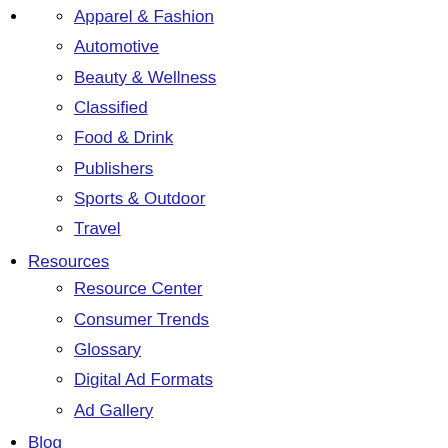Apparel & Fashion
Automotive
Beauty & Wellness
Classified
Food & Drink
Publishers
Sports & Outdoor
Travel
Resources
Resource Center
Consumer Trends
Glossary
Digital Ad Formats
Ad Gallery
Blog
COMPANY
CAREERS
INVESTORS
NEWS
EVENTS
PARTNERS
Select your Language
English